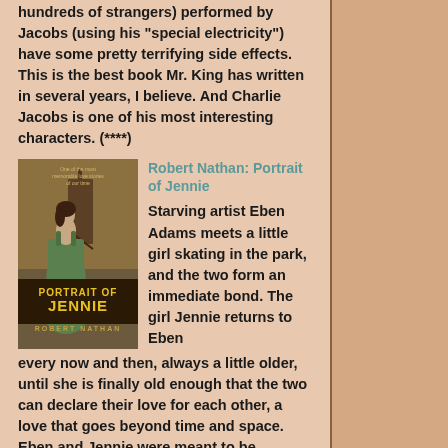hundreds of strangers) performed by Jacobs (using his "special electricity") have some pretty terrifying side effects. This is the best book Mr. King has written in several years, I believe. And Charlie Jacobs is one of his most interesting characters. (****)
[Figure (photo): Book cover of 'Portrait of Jennie' by Robert Nathan showing a woman in a green dress]
Robert Nathan: Portrait of Jennie
Starving artist Eben Adams meets a little girl skating in the park, and the two form an immediate bond. The girl Jennie returns to Eben every now and then, always a little older, until she is finally old enough that the two can declare their love for each other, a love that goes beyond time and space. Eben and Jennie were meant to be together, and neither death nor an ocean can keep them apart. "Where I come from